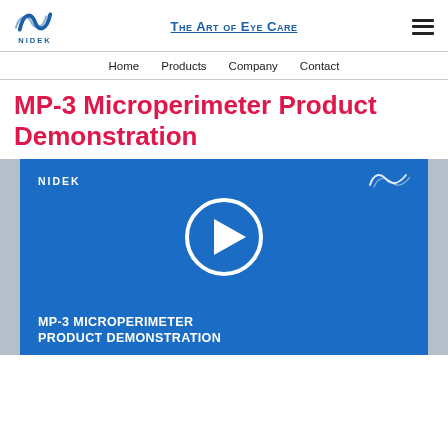NIDEK — THE ART OF EYE CARE
Home  Products  Company  Contact
MP-3 Microperimeter Product Demonstration
[Figure (screenshot): Video thumbnail for MP-3 Microperimeter Product Demonstration on blue background with NIDEK logo, play button, and title text at bottom.]